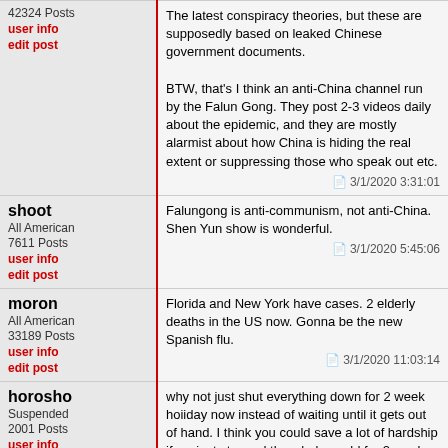42324 Posts
user info
edit post
The latest conspiracy theories, but these are supposedly based on leaked Chinese government documents.

BTW, that's I think an anti-China channel run by the Falun Gong. They post 2-3 videos daily about the epidemic, and they are mostly alarmist about how China is hiding the real extent or suppressing those who speak out etc.
3/1/2020 3:31:01
shoot
All American
7611 Posts
user info
edit post
Falungong is anti-communism, not anti-China. Shen Yun show is wonderful.
3/1/2020 5:45:06
moron
All American
33189 Posts
user info
edit post
Florida and New York have cases. 2 elderly deaths in the US now. Gonna be the new Spanish flu.
3/1/2020 11:03:14
horosho
Suspended
2001 Posts
user info
edit post
why not just shut everything down for 2 week hoiiday now instead of waiting until it gets out of hand. I think you could save a lot of hardship if we just stopped the whole world for 2 weeks and let the virus end. Would that be too costly? Ineffective? China waited too long to try it. It seems like thats where we are headed but the difference is millions will be sick if we wait.

If this spreads as much as H1N1 did in 1 years time (70 million cases), we will be looking at 1.5-4 million dead (2-